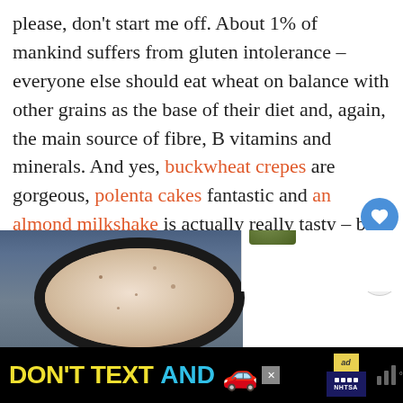please, don't start me off. About 1% of mankind suffers from gluten intolerance – everyone else should eat wheat on balance with other grains as the base of their diet and, again, the main source of fibre, B vitamins and minerals. And yes, buckwheat crepes are gorgeous, polenta cakes fantastic and an almond milkshake is actually really tasty – but it should be incidental, taste-oriented and not one's policy or strategy.
[Figure (photo): A cast iron pan with a crepe or milky liquid, partially visible. To the right is a 'What's Next' sidebar thumbnail showing a salad bowl.]
[Figure (infographic): Advertisement banner: DON'T TEXT AND [car emoji] with NHTSA logo and AdChoices badge on black background.]